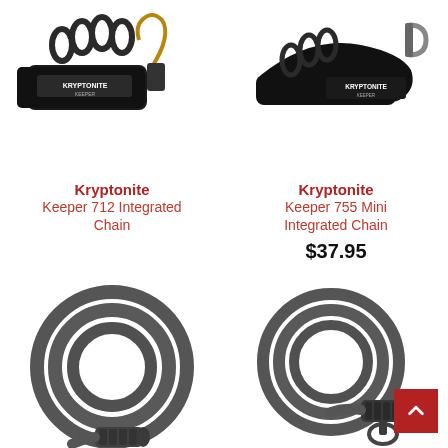[Figure (photo): Kryptonite Keeper 712 Integrated Chain lock product photo - black chain with lock]
[Figure (photo): Kryptonite Keeper 755 Mini Integrated Chain lock product photo - black chain with lock]
Kryptonite
Keeper 712 Integrated Chain
Kryptonite
Keeper 755 Mini Integrated Chain
$37.95
[Figure (photo): Cable combination lock coiled - gray/dark, with combination dial at end]
[Figure (photo): Cable combination lock coiled - gray/dark, with combination dial and key ring]
More details
More details